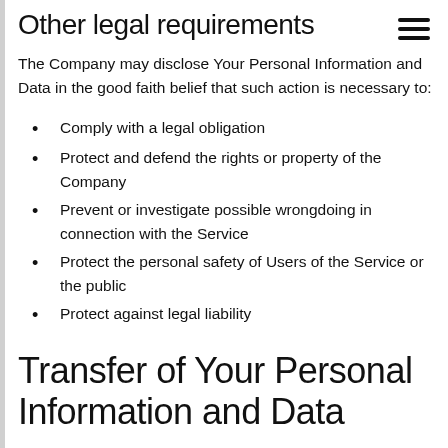Other legal requirements
The Company may disclose Your Personal Information and Data in the good faith belief that such action is necessary to:
Comply with a legal obligation
Protect and defend the rights or property of the Company
Prevent or investigate possible wrongdoing in connection with the Service
Protect the personal safety of Users of the Service or the public
Protect against legal liability
Transfer of Your Personal Information and Data